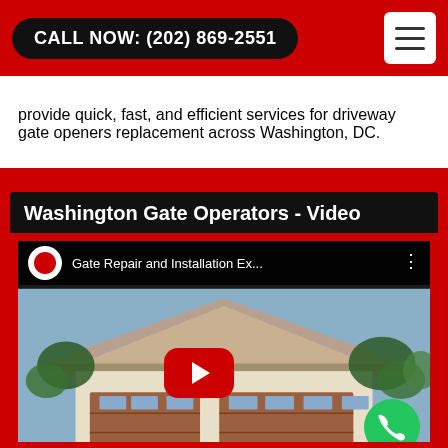CALL NOW: (202) 869-2551
provide quick, fast, and efficient services for driveway gate openers replacement across Washington, DC.
[Figure (screenshot): Embedded YouTube video thumbnail showing a house with a wooden garage door and ivy, with a red YouTube play button. The video is titled 'Gate Repair and Installation Ex...' with a green phone button overlay in the bottom right corner. The video section is labeled 'Washington Gate Operators - Video'.]